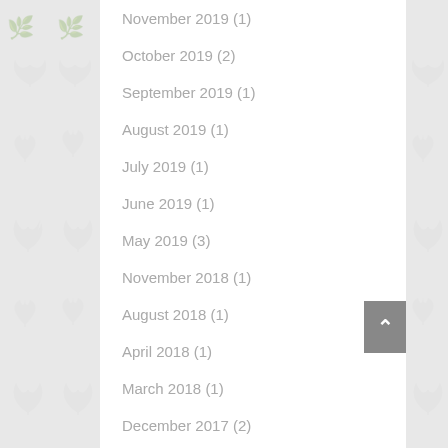November 2019 (1)
October 2019 (2)
September 2019 (1)
August 2019 (1)
July 2019 (1)
June 2019 (1)
May 2019 (3)
November 2018 (1)
August 2018 (1)
April 2018 (1)
March 2018 (1)
December 2017 (2)
November 2017 (3)
October 2017 (1)